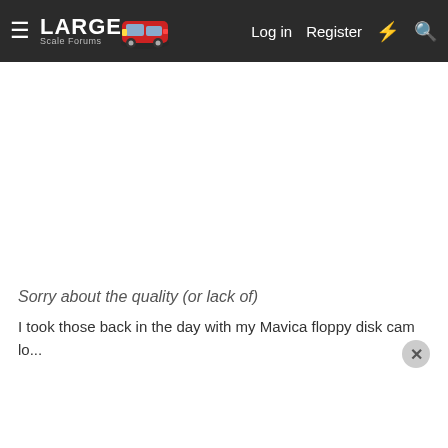Large Scale Forums — Log in | Register
[Figure (screenshot): Grid of broken image placeholders (red X icons on white background), approximately 9 rows of 11 broken images each, indicating missing/deleted forum post images.]
Sorry about the quality (or lack of)
I took those back in the day with my Mavica floppy disk cam lo...